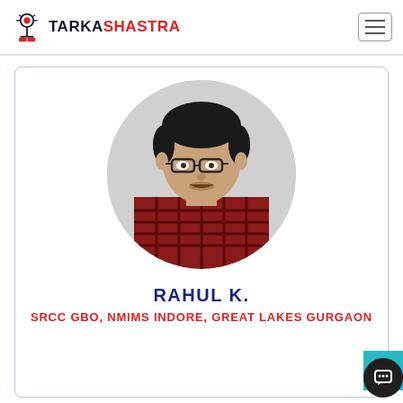TARKASHASTRA
[Figure (photo): Profile photo of Rahul K. — a young man wearing glasses and a red checkered shirt, shown in a circular crop]
RAHUL K.
SRCC GBO, NMIMS INDORE, GREAT LAKES GURGAON